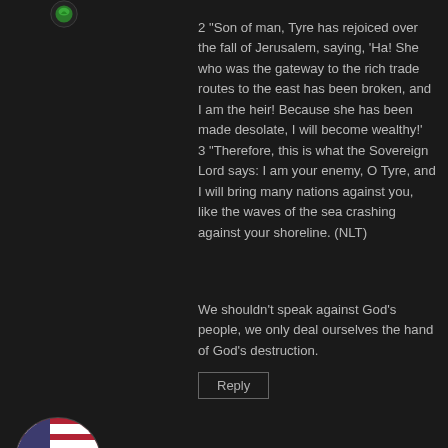[Figure (logo): Partial circular avatar/logo at top left, green icon]
2 "Son of man, Tyre has rejoiced over the fall of Jerusalem, saying, 'Ha! She who was the gateway to the rich trade routes to the east has been broken, and I am the heir! Because she has been made desolate, I will become wealthy!'
3 "Therefore, this is what the Sovereign Lord says: I am your enemy, O Tyre, and I will bring many nations against you, like the waves of the sea crashing against your shoreline. (NLT)

We shouldn't speak against God's people, we only deal ourselves the hand of God's destruction.
Reply
[Figure (logo): Ford logo avatar in circular frame with American flag background]
lintonbk  November 25, 2013 at 9:36 am
When the adversary has been battling us steady for a long time and the tide changes, do we celebrate? I